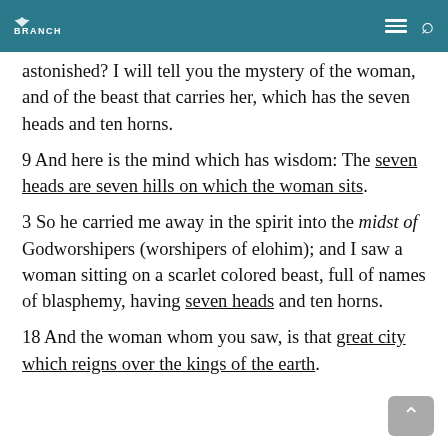BRANCH
astonished? I will tell you the mystery of the woman, and of the beast that carries her, which has the seven heads and ten horns.
9 And here is the mind which has wisdom: The seven heads are seven hills on which the woman sits.
3 So he carried me away in the spirit into the midst of Godworshipers (worshipers of elohim); and I saw a woman sitting on a scarlet colored beast, full of names of blasphemy, having seven heads and ten horns.
18 And the woman whom you saw, is that great city which reigns over the kings of the earth.